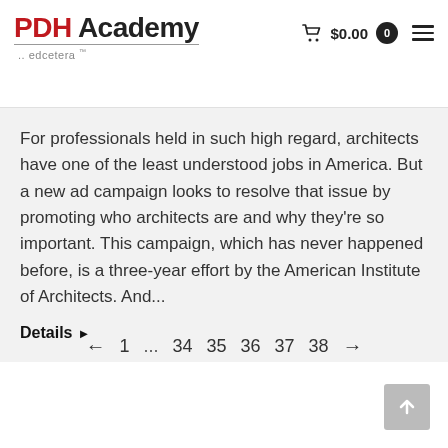PDH Academy ..edcetera
For professionals held in such high regard, architects have one of the least understood jobs in America. But a new ad campaign looks to resolve that issue by promoting who architects are and why they're so important. This campaign, which has never happened before, is a three-year effort by the American Institute of Architects. And...
Details ▶
← 1 ... 34 35 36 37 38 →